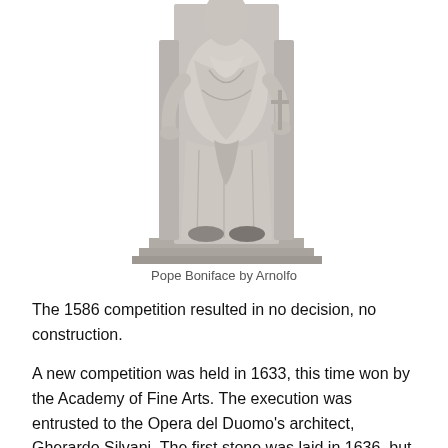[Figure (photo): A marble statue of Pope Boniface seated on a throne, sculpted by Arnolfo. The figure is wearing papal robes and is shown from roughly the waist/knees down, displayed on a rectangular pedestal base.]
Pope Boniface by Arnolfo
The 1586 competition resulted in no decision, no construction.
A new competition was held in 1633, this time won by the Academy of Fine Arts. The execution was entrusted to the Opera del Duomo's architect, Gherardo Silvani. The first stone was laid in 1636, but two years later everything was suspended because of the fierce criticism of the project by